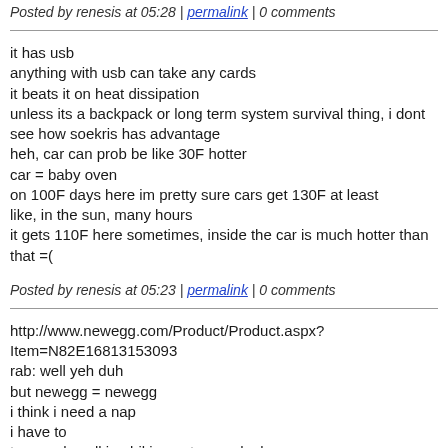Posted by renesis at 05:28 | permalink | 0 comments
it has usb
anything with usb can take any cards
it beats it on heat dissipation
unless its a backpack or long term system survival thing, i dont see how soekris has advantage
heh, car can prob be like 30F hotter
car = baby oven
on 100F days here im pretty sure cars get 130F at least
like, in the sun, many hours
it gets 110F here sometimes, inside the car is much hotter than that =(
Posted by renesis at 05:23 | permalink | 0 comments
http://www.newegg.com/Product/Product.aspx?Item=N82E16813153093
rab: well yeh duh
but newegg = newegg
i think i need a nap
i have to
too much walking biking not enough sleepy
wtf clows who cares